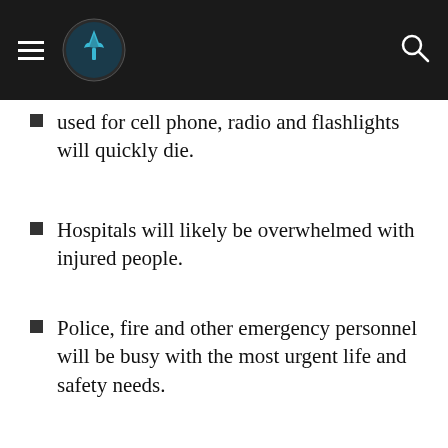used for cell phone, radio and flashlights will quickly die.
Hospitals will likely be overwhelmed with injured people.
Police, fire and other emergency personnel will be busy with the most urgent life and safety needs.
[Figure (photo): Emergency preparedness kit: a dark water bottle with measurement markings, a tan tactical/medical bag with a red cross, a map, and other outdoor/survival gear laid on grass.]